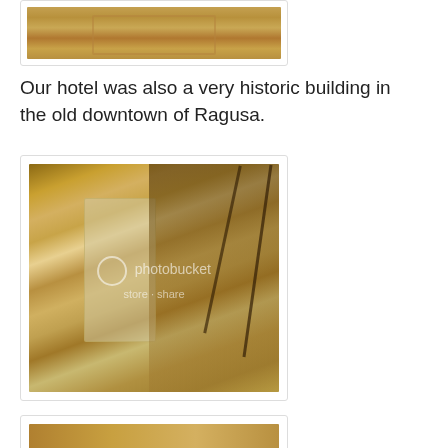[Figure (photo): Partial view of decorative painted ceiling in warm golden-brown tones, historic building interior]
Our hotel was also a very historic building in the old downtown of Ragusa.
[Figure (photo): Interior of a historic hotel room/lobby in Ragusa showing wooden staircase with metal railings, a door with curtains, warm brown tones, and a watermark overlay from Photobucket]
[Figure (photo): Partial view of another hotel interior photo, cropped at bottom of page]